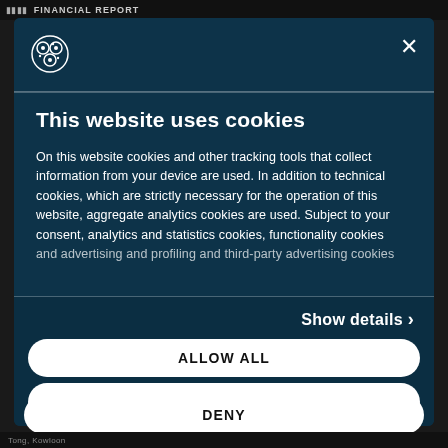FINANCIAL REPORT
This website uses cookies
On this website cookies and other tracking tools that collect information from your device are used. In addition to technical cookies, which are strictly necessary for the operation of this website, aggregate analytics cookies are used. Subject to your consent, analytics and statistics cookies, functionality cookies and advertising and profiling and third-party advertising cookies
Show details >
ALLOW ALL
CUSTOMIZE >
DENY
Tong, Kowloon